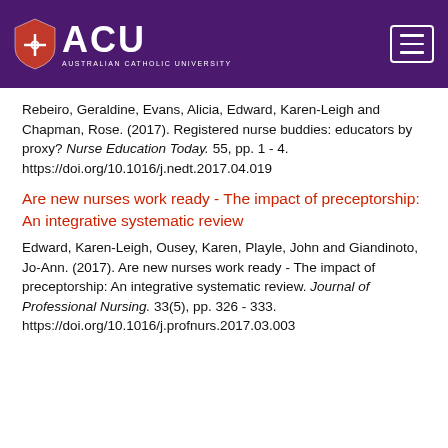[Figure (logo): ACU (Australian Catholic University) logo with shield and text on purple header background, with hamburger menu icon on the right]
Rebeiro, Geraldine, Evans, Alicia, Edward, Karen-Leigh and Chapman, Rose. (2017). Registered nurse buddies: educators by proxy? Nurse Education Today. 55, pp. 1 - 4. https://doi.org/10.1016/j.nedt.2017.04.019
Are new nurses work ready - The impact of preceptorship: An integrative systematic review
Edward, Karen-Leigh, Ousey, Karen, Playle, John and Giandinoto, Jo-Ann. (2017). Are new nurses work ready - The impact of preceptorship: An integrative systematic review. Journal of Professional Nursing. 33(5), pp. 326 - 333. https://doi.org/10.1016/j.profnurs.2017.03.003